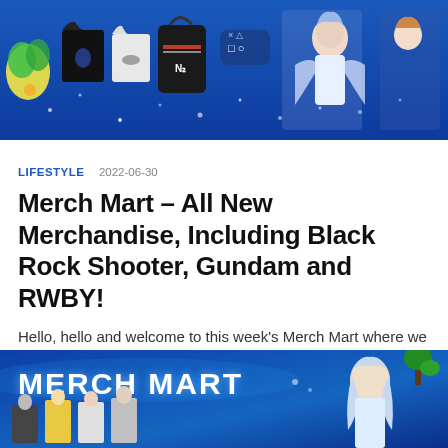[Figure (photo): Banner image showing anime merchandise including black t-shirts, a bag with red stripe, anime figures, on a blue background]
LIFESTYLE 2022-06-30
Merch Mart – All New Merchandise, Including Black Rock Shooter, Gundam and RWBY!
Hello, hello and welcome to this week's Merch Mart where we give you a roundup of all the merchandise currently on offer. From shirt to skirt, from Pacman to NieR, if it's available, you'll...
[Figure (photo): Second banner image with MERCH MART text in blue, anime character with white/silver hair on right side, small figurines on left]